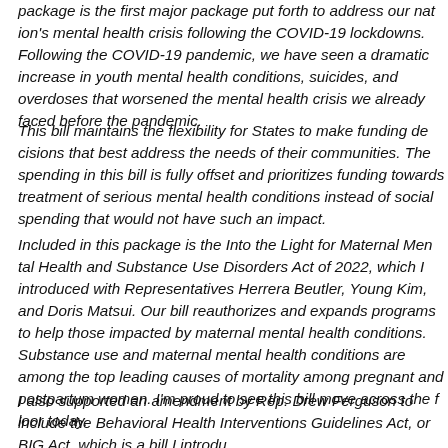package is the first major package put forth to address our nation's mental health crisis following the COVID-19 lockdowns. Following the COVID-19 pandemic, we have seen a dramatic increase in youth mental health conditions, suicides, and overdoses that worsened the mental health crisis we already faced before the pandemic.
This bill maintains the flexibility for States to make funding decisions that best address the needs of their communities. The spending in this bill is fully offset and prioritizes funding towards treatment of serious mental health conditions instead of social spending that would not have such an impact.
Included in this package is the Into the Light for Maternal Mental Health and Substance Use Disorders Act of 2022, which I introduced with Representatives Herrera Beutler, Young Kim, and Doris Matsui. Our bill reauthorizes and expands programs to help those impacted by maternal mental health conditions. Substance use and maternal mental health conditions are among the top leading causes of mortality among pregnant and postpartum women. I'm proud to see this bill move across the floor today.
I also supported an amendment by Rep. Drew Ferguson to include the Behavioral Health Interventions Guidelines Act, or BIG Act, which is a bill I introdu...